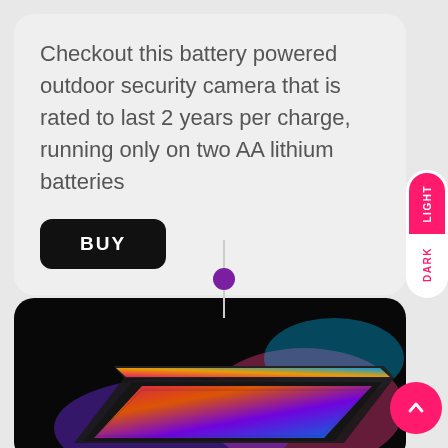Checkout this battery powered outdoor security camera that is rated to last 2 years per charge, running only on two AA lithium batteries
BUY
[Figure (screenshot): Light/Dark mode toggle pill on right edge, showing LIGHT in pink and DARK in white with pink text]
[Figure (photo): Laptop computer shown from above at an angle against a black background, with colorful RGB keyboard lighting in red, orange, blue and purple hues, and a colorful screen edge visible]